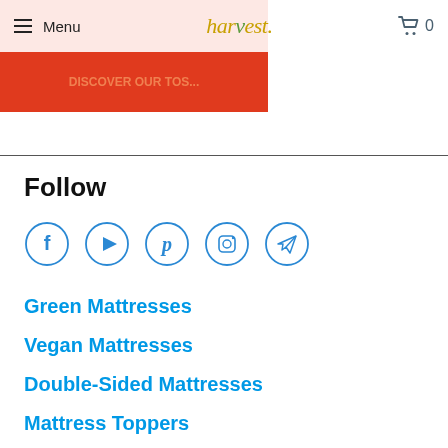Menu | harvest. | 0
[Figure (screenshot): Red promotional banner partially visible at top left with orange text]
Follow
[Figure (infographic): Five social media icons in circles: Facebook, YouTube, Pinterest, Instagram, Telegram]
Green Mattresses
Vegan Mattresses
Double-Sided Mattresses
Mattress Toppers